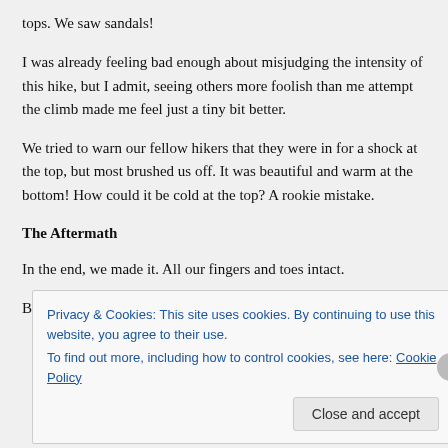tops. We saw sandals!
I was already feeling bad enough about misjudging the intensity of this hike, but I admit, seeing others more foolish than me attempt the climb made me feel just a tiny bit better.
We tried to warn our fellow hikers that they were in for a shock at the top, but most brushed us off. It was beautiful and warm at the bottom! How could it be cold at the top? A rookie mistake.
The Aftermath
In the end, we made it. All our fingers and toes intact.
But this experience changed the way I prepare for serious hikes.
Privacy & Cookies: This site uses cookies. By continuing to use this website, you agree to their use.
To find out more, including how to control cookies, see here: Cookie Policy
Close and accept